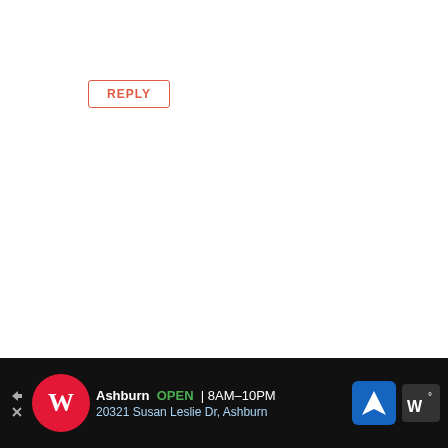REPLY
← Older Comments
[Figure (illustration): Decorative bordered card with teal cursive text reading 'Work with Marisa' and illustrated icons of a briefcase, cup, and other work-related items below]
[Figure (screenshot): Advertisement bar for Walgreens: Ashburn OPEN | 8AM-10PM, 20321 Susan Leslie Dr, Ashburn, with Walgreens logo, navigation arrow icon, and W° icon]